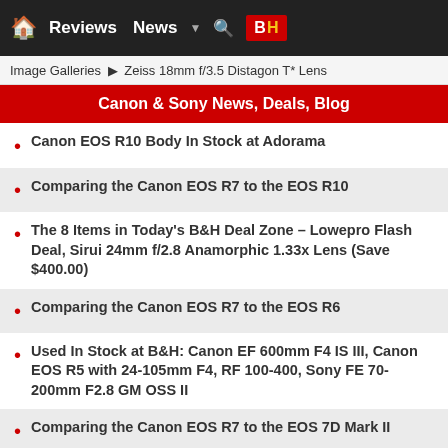Reviews  News  B|H
Image Galleries ▶ Zeiss 18mm f/3.5 Distagon T* Lens
Canon & Sony News, Deals, Blog
Canon EOS R10 Body In Stock at Adorama
Comparing the Canon EOS R7 to the EOS R10
The 8 Items in Today's B&H Deal Zone – Lowepro Flash Deal, Sirui 24mm f/2.8 Anamorphic 1.33x Lens (Save $400.00)
Comparing the Canon EOS R7 to the EOS R6
Used In Stock at B&H: Canon EF 600mm F4 IS III, Canon EOS R5 with 24-105mm F4, RF 100-400, Sony FE 70-200mm F2.8 GM OSS II
Comparing the Canon EOS R7 to the EOS 7D Mark II
In Today's B&H Deal Zone: Steadicam AIR 25 Monopod – Only $169.00 (Save $330.00)
Updated: Let's Talk About Reach: Does an APS-C Format...